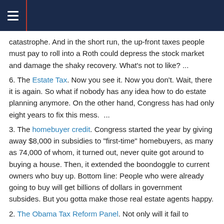≡
catastrophe. And in the short run, the up-front taxes people must pay to roll into a Roth could depress the stock market and damage the shaky recovery. What's not to like? ...
6. The Estate Tax. Now you see it. Now you don't. Wait, there it is again. So what if nobody has any idea how to do estate planning anymore. On the other hand, Congress has had only eight years to fix this mess.  ...
3. The homebuyer credit. Congress started the year by giving away $8,000 in subsidies to "first-time" homebuyers, as many as 74,000 of whom, it turned out, never quite got around to buying a house. Then, it extended the boondoggle to current owners who buy up. Bottom line: People who were already going to buy will get billions of dollars in government subsides. But you gotta make those real estate agents happy.
2. The Obama Tax Reform Panel. Not only will it fail to